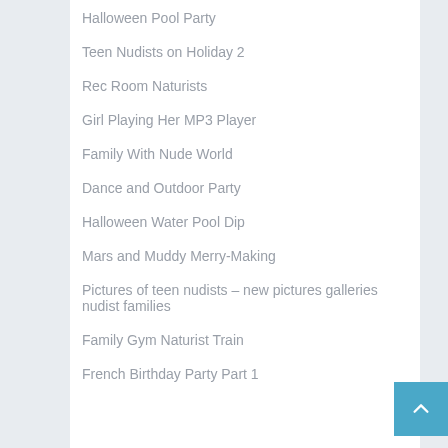Halloween Pool Party
Teen Nudists on Holiday 2
Rec Room Naturists
Girl Playing Her MP3 Player
Family With Nude World
Dance and Outdoor Party
Halloween Water Pool Dip
Mars and Muddy Merry-Making
Pictures of teen nudists – new pictures galleries nudist families
Family Gym Naturist Train
French Birthday Party Part 1